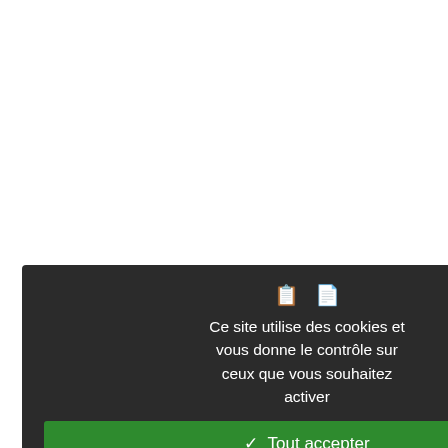46 Such forms are found in the dialects...
47 This velarized and labialized - *k, and spoken in the south of Sinai. NISHIO, 1... [-ok ~ -ku (masc. sg.), and -k ~ -ek (fem... you (masc. sg.)" and ʺleʻkum, "on you... communication). (BAILEY, 1991, map ... eginning of this century). This vowel... ndicating labialization and velarization... he pl. forms: first the * in masc. pl. ʺlēk... in fem. pl. ʺlēkin. Then -um and -in... nasc./fem.) were interpreted as the pl... osition, it acquired phonemic status in a...
48 I.e. battix sêfi, which is grown in a so...
49 Although younger speakers are awa... an reproduce it when specifically aske... act, in the majority of cases the grandfa... red that the older -*k suffix appeared.
50 The suffix is actually vowelless, thus... he vowel immediately preceding, and in... also the unrounded 2nd pers. sg. fem.... agabâtk, "your (fem.) neck".
51 Cf. BLANC, 1970, p. 130-131.(19-2...
Ce site utilise des cookies et vous donne le contrôle sur ceux que vous souhaitez activer
✓ Tout accepter
✗ Tout refuser
Personnaliser
Politique de confidentialité